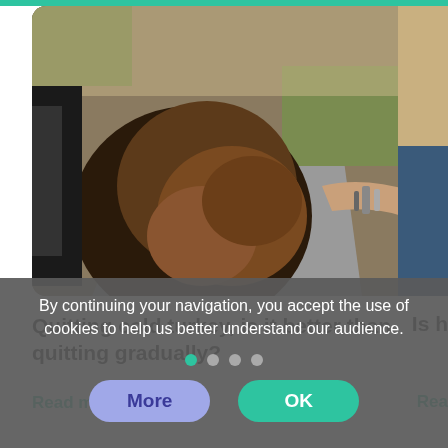[Figure (photo): Person leaning out of a car window on a road, hair blowing, wearing bracelets, road with lane markings and trees visible in background]
Quitting cold turkey, is it better than quitting gradually?
Read more →
Is h
Rea
By continuing your navigation, you accept the use of cookies to help us better understand our audience.
More
OK